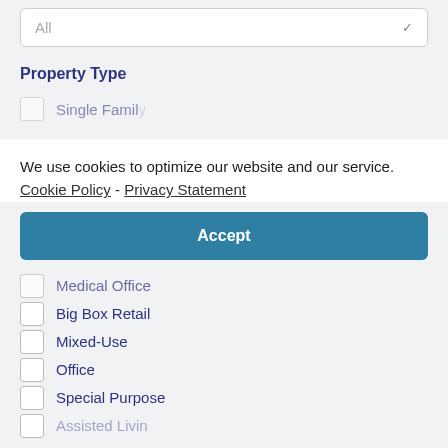All
Property Type
Single Family (partially visible)
We use cookies to optimize our website and our service.  Cookie Policy - Privacy Statement
Accept
Medical Office
Big Box Retail
Mixed-Use
Office
Special Purpose
Assisted Living (partially visible)